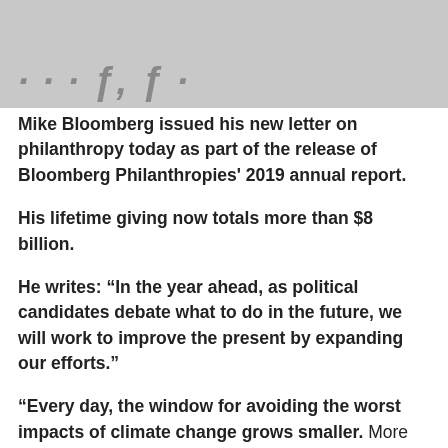[Figure (photo): Gray image area with stylized italic bold text partially visible at bottom left]
Mike Bloomberg issued his new letter on philanthropy today as part of the release of Bloomberg Philanthropies' 2019 annual report.
His lifetime giving now totals more than $8 billion.
He writes: “In the year ahead, as political candidates debate what to do in the future, we will work to improve the present by expanding our efforts.”
“Every day, the window for avoiding the worst impacts of climate change grows smaller. More Americans lose loved ones to opioid overdoses and gun violence. More